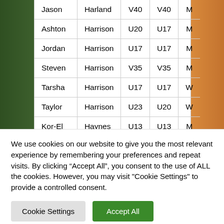| Jason | Harland | V40 | V40 | M |
| Ashton | Harrison | U20 | U17 | M |
| Jordan | Harrison | U17 | U17 | M |
| Steven | Harrison | V35 | V35 | M |
| Tarsha | Harrison | U17 | U17 | W |
| Taylor | Harrison | U23 | U20 | W |
| Kor-El | Haynes | U13 | U13 | M |
| Bethany | Head | U17 | U17 | W |
We use cookies on our website to give you the most relevant experience by remembering your preferences and repeat visits. By clicking “Accept All”, you consent to the use of ALL the cookies. However, you may visit "Cookie Settings" to provide a controlled consent.